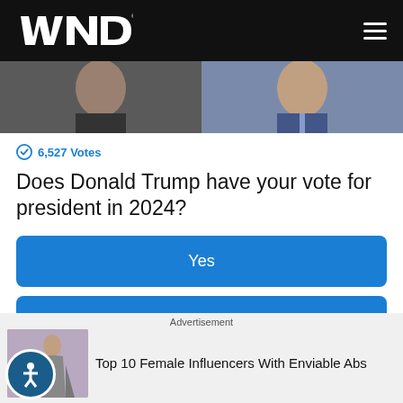WND
[Figure (photo): Photo strip showing two people, partially cropped]
6,527 Votes
Does Donald Trump have your vote for president in 2024?
Yes
No
I'm not sure
Advertisement
Top 10 Female Influencers With Enviable Abs